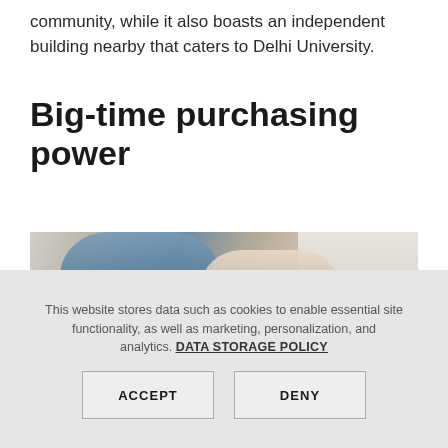community, while it also boasts an independent building nearby that caters to Delhi University.
Big-time purchasing power
[Figure (photo): A man and a woman leaning over something together in a kitchen setting, appearing to examine or discuss an item. The man has a beard and is wearing a blue checkered shirt; the woman has dark hair and is holding a small object.]
This website stores data such as cookies to enable essential site functionality, as well as marketing, personalization, and analytics. DATA STORAGE POLICY
ACCEPT
DENY